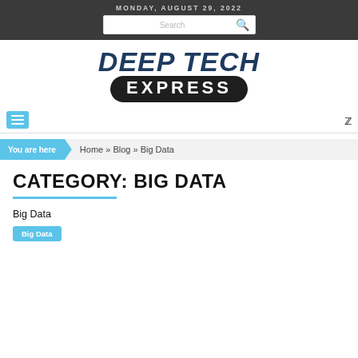MONDAY, AUGUST 29, 2022
[Figure (logo): Deep Tech Express logo with italic navy text 'DEEP TECH' and white 'EXPRESS' on black rounded rectangle]
You are here  Home » Blog » Big Data
CATEGORY: BIG DATA
Big Data
Big Data